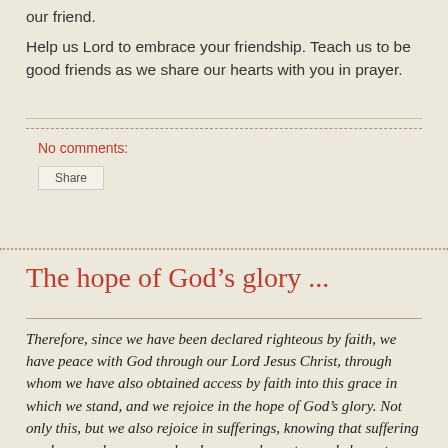our friend.
Help us Lord to embrace your friendship. Teach us to be good friends as we share our hearts with you in prayer.
No comments:
Share
The hope of God’s glory ...
Therefore, since we have been declared righteous by faith, we have peace with God through our Lord Jesus Christ, through whom we have also obtained access by faith into this grace in which we stand, and we rejoice in the hope of God’s glory. Not only this, but we also rejoice in sufferings, knowing that suffering produces endurance, and endurance, character, and character, hope. And hope does not disappoint, because the love of God has been poured out in